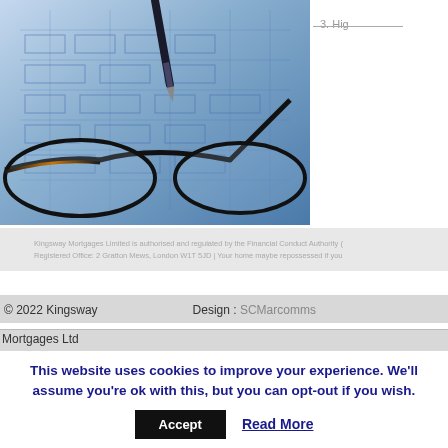[Figure (photo): Photo of glasses and a pen resting on top of engineering/form diagrams with a blue-toned color scheme]
3. Hig
Kingsway Mortgages Limited is authorised and regulated by the Financial Conduct Authority (Registered Office: 2 Gratton Mews, London W1T 5JD | Your home maybe repossessed if you
© 2022 Kingsway    Design : SCMarcomms
Mortgages Ltd
This website uses cookies to improve your experience. We'll assume you're ok with this, but you can opt-out if you wish.
Accept   Read More